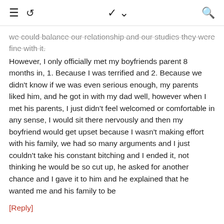≡ ↺  ∨  🔍
we could balance our relationship and our studies they were fine with it.
However, I only officially met my boyfriends parent 8 months in, 1. Because I was terrified and 2. Because we didn't know if we was even serious enough, my parents liked him, and he got in with my dad well, however when I met his parents, I just didn't feel welcomed or comfortable in any sense, I would sit there nervously and then my boyfriend would get upset because I wasn't making effort with his family, we had so many arguments and I just couldn't take his constant bitching and I ended it, not thinking he would be so cut up, he asked for another chance and I gave it to him and he explained that he wanted me and his family to be
[Reply]